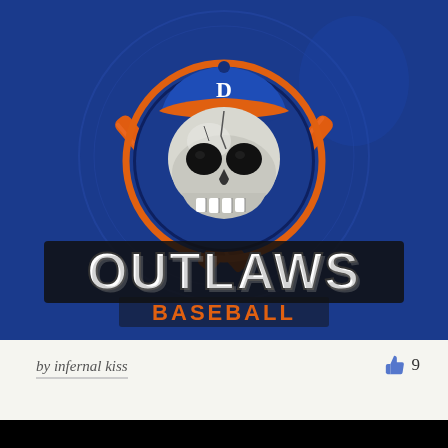[Figure (logo): 818 Outlaws Baseball logo: skull wearing a blue cap with '818' on the brim, crossed orange baseball bats behind it, set in a blue circle. Below the emblem reads 'OUTLAWS BASEBALL' in large stylized white and orange text on a blue background.]
by infernal kiss
9